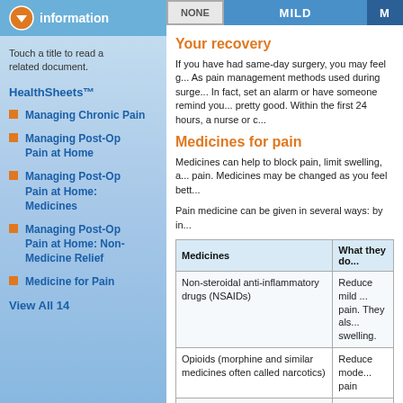information
Touch a title to read a related document.
HealthSheets™
Managing Chronic Pain
Managing Post-Op Pain at Home
Managing Post-Op Pain at Home: Medicines
Managing Post-Op Pain at Home: Non-Medicine Relief
Medicine for Pain
View All 14
Your recovery
If you have had same-day surgery, you may feel g... As pain management methods used during surge... In fact, set an alarm or have someone remind you... pretty good. Within the first 24 hours, a nurse or c...
Medicines for pain
Medicines can help to block pain, limit swelling, a... pain. Medicines may be changed as you feel bett...
Pain medicine can be given in several ways: by in...
| Medicines | What they do |
| --- | --- |
| Non-steroidal anti-inflammatory drugs (NSAIDs) | Reduce mild ... pain. They als... swelling. |
| Opioids (morphine and similar medicines often called narcotics) | Reduce mode... pain |
| Other pain relievers (analgesics) | Reduce mild ... |
| Seizure medicines (anticonvulsants) | Manage nerv... |